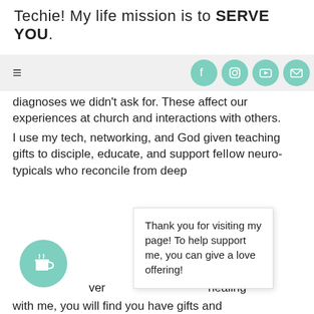Techie! My life mission is to SERVE YOU.
[Figure (infographic): Navigation bar with hamburger menu icon and four circular teal social media icons: Facebook, Instagram, YouTube, and email/envelope]
diagnoses we didn't ask for. These affect our experiences at church and interactions with others.
I use my tech, networking, and God given teaching gifts to disciple, educate, and support f[...] uro-typicals w[...] cile from dee[...]
Thank you for visiting my page! To help support me, you can give a love offering!
[...ver...] healing with me, you will find you have gifts and